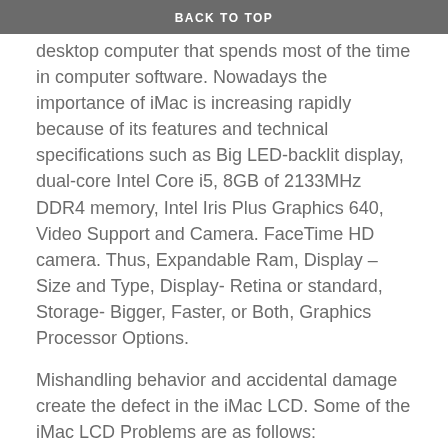BACK TO TOP
desktop computer that spends most of the time in computer software. Nowadays the importance of iMac is increasing rapidly because of its features and technical specifications such as Big LED-backlit display, dual-core Intel Core i5, 8GB of 2133MHz DDR4 memory, Intel Iris Plus Graphics 640, Video Support and Camera. FaceTime HD camera. Thus, Expandable Ram, Display – Size and Type, Display- Retina or standard, Storage- Bigger, Faster, or Both, Graphics Processor Options.
Mishandling behavior and accidental damage create the defect in the iMac LCD. Some of the iMac LCD Problems are as follows:
iMac Broken and cracked screen
iMac Stuttering or Flickering
iMac Vertical Lines
iMac Dead or Stuck Pixels.
iMac Cracks, Spots, and Blotches